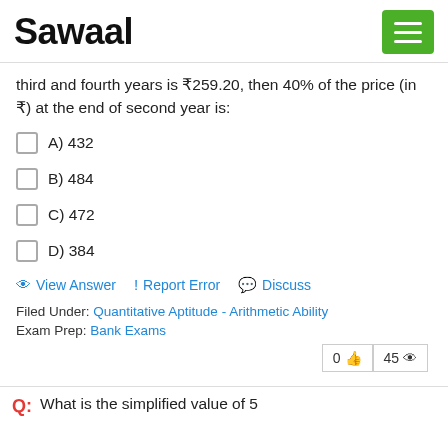Sawaal
third and fourth years is ₹259.20, then 40% of the price (in ₹) at the end of second year is:
A) 432
B) 484
C) 472
D) 384
View Answer   ! Report Error   Discuss
Filed Under: Quantitative Aptitude - Arithmetic Ability
Exam Prep: Bank Exams
0 👍  45 👁
Q: What is the simplified value of 5